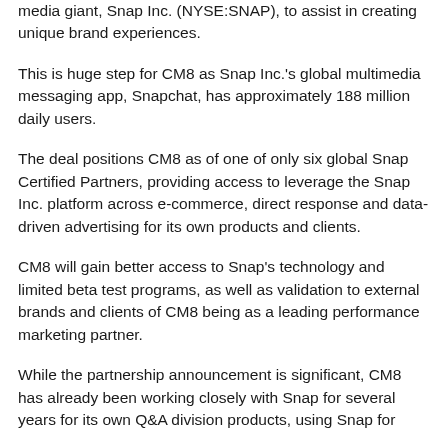media giant, Snap Inc. (NYSE:SNAP), to assist in creating unique brand experiences.
This is huge step for CM8 as Snap Inc.'s global multimedia messaging app, Snapchat, has approximately 188 million daily users.
The deal positions CM8 as of one of only six global Snap Certified Partners, providing access to leverage the Snap Inc. platform across e-commerce, direct response and data-driven advertising for its own products and clients.
CM8 will gain better access to Snap's technology and limited beta test programs, as well as validation to external brands and clients of CM8 being as a leading performance marketing partner.
While the partnership announcement is significant, CM8 has already been working closely with Snap for several years for its own Q&A division products, using Snap for